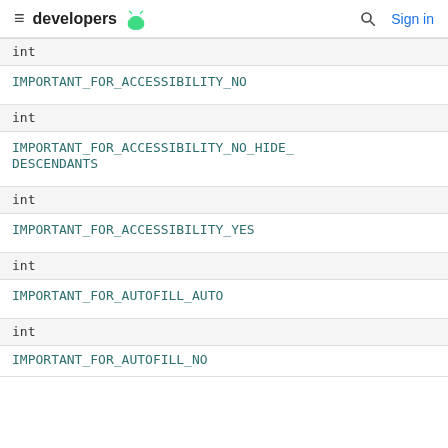developers [Android icon] | [search icon] Sign in
| Type | Constant |
| --- | --- |
| int | IMPORTANT_FOR_ACCESSIBILITY_NO |
| int | IMPORTANT_FOR_ACCESSIBILITY_NO_HIDE_DESCENDANTS |
| int | IMPORTANT_FOR_ACCESSIBILITY_YES |
| int | IMPORTANT_FOR_AUTOFILL_AUTO |
| int | IMPORTANT_FOR_AUTOFILL_NO |